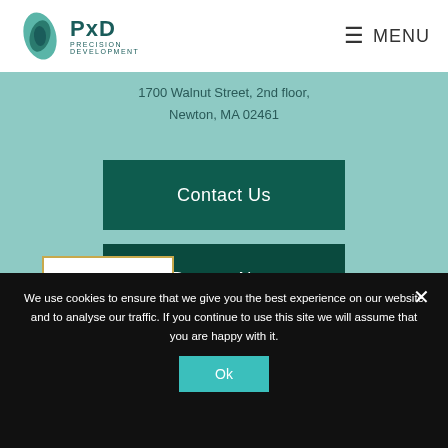[Figure (logo): PxD Precision Development logo — teal leaf icon with text PxD and PRECISION DEVELOPMENT]
MENU
1700 Walnut Street, 2nd floor,
Newton, MA 02461
Contact Us
Donate Now
Careers
[Figure (logo): Candid Gold Transparency 2022 badge with gold border]
[Figure (logo): GiveWell logo]
We use cookies to ensure that we give you the best experience on our website and to analyse our traffic. If you continue to use this site we will assume that you are happy with it.
Ok